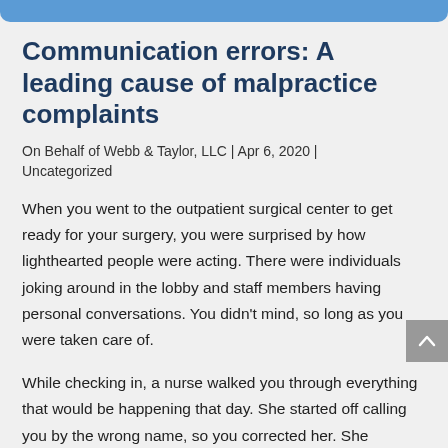Communication errors: A leading cause of malpractice complaints
On Behalf of Webb & Taylor, LLC | Apr 6, 2020 | Uncategorized
When you went to the outpatient surgical center to get ready for your surgery, you were surprised by how lighthearted people were acting. There were individuals joking around in the lobby and staff members having personal conversations. You didn't mind, so long as you were taken care of.
While checking in, a nurse walked you through everything that would be happening that day. She started off calling you by the wrong name, so you corrected her. She continued to do so anyway. Then, she started explaining